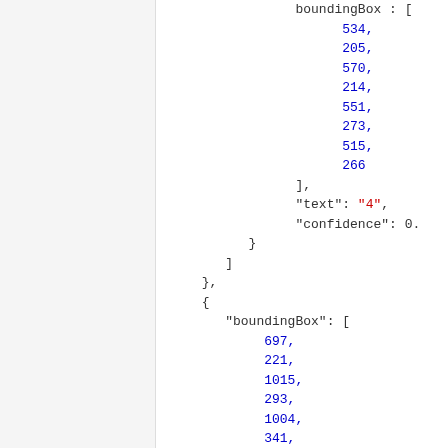boundingBox : [
534,
205,
570,
214,
551,
273,
515,
266
],
"text": "4",
"confidence": 0.
}
]
},
{
"boundingBox": [
697,
221,
1015,
293,
1004,
341,
688,
268